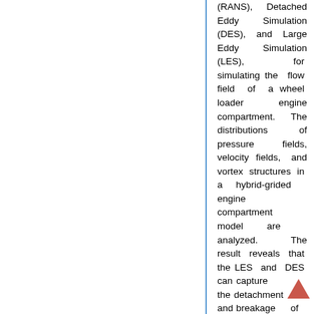(RANS), Detached Eddy Simulation (DES), and Large Eddy Simulation (LES), for simulating the flow field of a wheel loader engine compartment. The distributions of pressure fields, velocity fields, and vortex structures in a hybrid-grided engine compartment model are analyzed. The result reveals that the LES and DES can capture the detachment and breakage of the trailing edge more abundantly and meticulously than RANS. Additionally, by comparing the relevant calculation time, the feasibility of